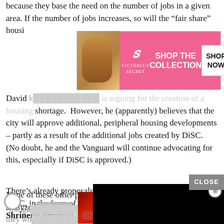because they base the need on the number of jobs in a given area. If the number of jobs increases, so will the “fair share” housing
[Figure (infographic): Victoria's Secret advertisement banner: pink background with model photo on left, VS logo in center, 'SHOP THE COLLECTION' text, and 'SHOP NOW' button on right]
David [partially obscured] is arguing for the creation of a housing shortage. However, he (apparently) believes that the city will approve additional, peripheral housing developments – partly as a result of the additional jobs created by DiSC. (No doubt, he and the Vanguard will continue advocating for this, especially if DiSC is approved.)
There’s already proposals to build [obscured] near DiSC, in the form of Palomino[obscured] Shriner’s proposal. (The develo[obscured] already been advertising on the Va[obscured] months.) In addition, there’s the “[obscured] inside of the Mace curve, etc. All d[obscured] to additional Measure J votes, and are (by no means) “approved”.
None of these other proposals have been analyzed [obscured] less mitigated [obscured] cts they wo[obscured] as DiSC. (Again, the housing demand from DiSC itself would be
[Figure (infographic): Macy's advertisement banner: dark background with red-lip model photo, 'KISS BORING LIPS GOODBYE' text, 'SHOP NOW' button, and Macy's star logo]